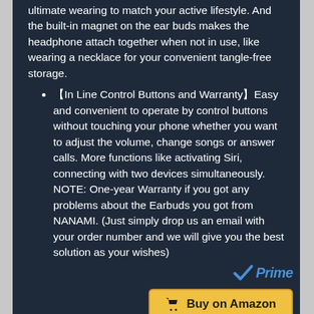ultimate wearing to match your active lifestyle. And the built-in magnet on the ear buds makes the headphone attach together when not in use, like wearing a necklace for your convenient tangle-free storage.
【In Line Control Buttons and Warranty】Easy and convenient to operate by control buttons without touching your phone whether you want to adjust the volume, change songs or answer calls. More functions like activating Siri, connecting with two devices simultaneously. NOTE: One-year Warranty if you got any problems about the Earbuds you got from NANAMI. (Just simply drop us an email with your order number and we will give you the best solution as your wishes)
[Figure (logo): Amazon Prime logo with blue checkmark and italic 'Prime' text]
Buy on Amazon